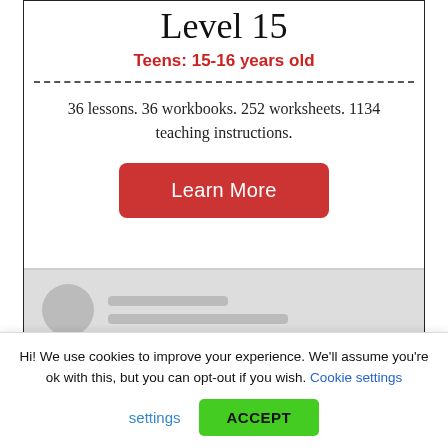Level 15
Teens: 15-16 years old
36 lessons. 36 workbooks. 252 worksheets. 1134 teaching instructions.
[Figure (other): Red 'Learn More' button]
[Figure (photo): Partially visible grayscale image at the bottom of the card]
Hi! We use cookies to improve your experience. We'll assume you're ok with this, but you can opt-out if you wish. Cookie settings
ACCEPT